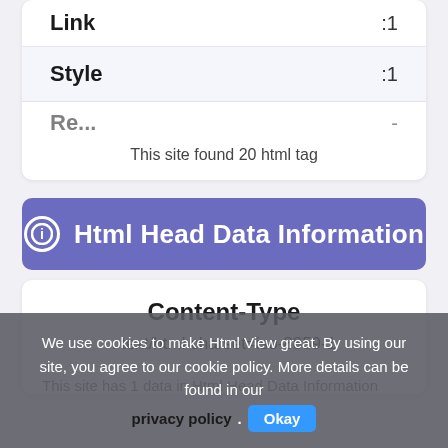|  |  |
| --- | --- |
| Link | :1 |
| Style | :1 |
| ... | - |
This site found 20 html tag
Html Head Data Information
Content-Type
: text/html charset=iso-8859-1
This site has 1 data in Html Head Data Information
We use cookies to make Html View great. By using our site, you agree to our cookie policy. More details can be found in our privacy policy. Okay